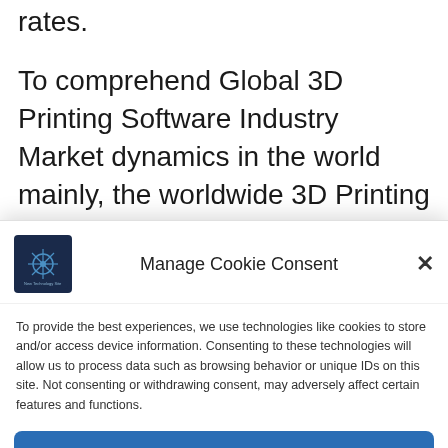rates.
To comprehend Global 3D Printing Software Industry Market dynamics in the world mainly, the worldwide 3D Printing Software Industry Market has been analyzed across major regions. JCMR also provides customized specific regional
Manage Cookie Consent
To provide the best experiences, we use technologies like cookies to store and/or access device information. Consenting to these technologies will allow us to process data such as browsing behavior or unique IDs on this site. Not consenting or withdrawing consent, may adversely affect certain features and functions.
Accept